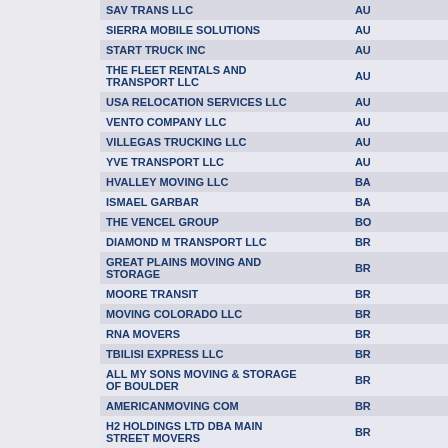| Company Name | City |
| --- | --- |
| SAV TRANS LLC | AU |
| SIERRA MOBILE SOLUTIONS | AU |
| START TRUCK INC | AU |
| THE FLEET RENTALS AND TRANSPORT LLC | AU |
| USA RELOCATION SERVICES LLC | AU |
| VENTO COMPANY LLC | AU |
| VILLEGAS TRUCKING LLC | AU |
| YVE TRANSPORT LLC | AU |
| HVALLEY MOVING LLC | BA |
| ISMAEL GARBAR | BA |
| THE VENCEL GROUP | BO |
| DIAMOND M TRANSPORT LLC | BR |
| GREAT PLAINS MOVING AND STORAGE | BR |
| MOORE TRANSIT | BR |
| MOVING COLORADO LLC | BR |
| RNA MOVERS | BR |
| TBILISI EXPRESS LLC | BR |
| ALL MY SONS MOVING & STORAGE OF BOULDER | BR |
| AMERICANMOVING COM | BR |
| H2 HOLDINGS LTD DBA MAIN STREET MOVERS | BR |